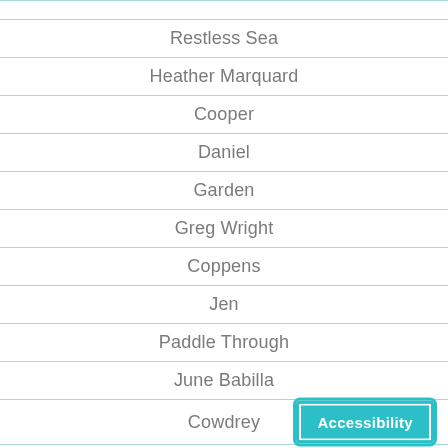Restless Sea
Heather Marquard
Cooper
Daniel
Garden
Greg Wright
Coppens
Jen
Paddle Through
June Babilla
Cowdrey
Karen